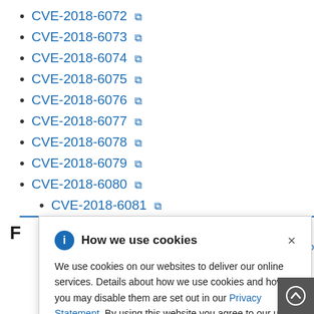CVE-2018-6072
CVE-2018-6073
CVE-2018-6074
CVE-2018-6075
CVE-2018-6076
CVE-2018-6077
CVE-2018-6078
CVE-2018-6079
CVE-2018-6080
CVE-2018-6081
How we use cookies
We use cookies on our websites to deliver our online services. Details about how we use cookies and how you may disable them are set out in our Privacy Statement. By using this website you agree to our use of cookies.